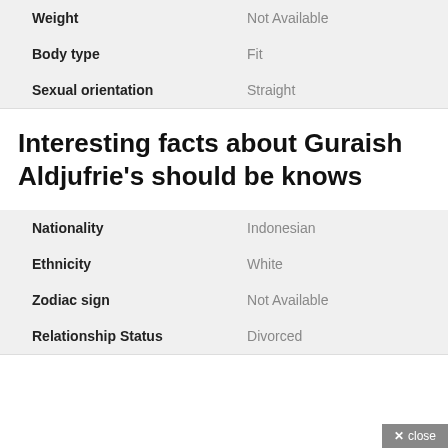|  |  |
| --- | --- |
| Weight | Not Available |
| Body type | Fit |
| Sexual orientation | Straight |
Interesting facts about Guraish Aldjufrie's should be knows
|  |  |
| --- | --- |
| Nationality | Indonesian |
| Ethnicity | White |
| Zodiac sign | Not Available |
| Relationship Status | Divorced |
✕ close